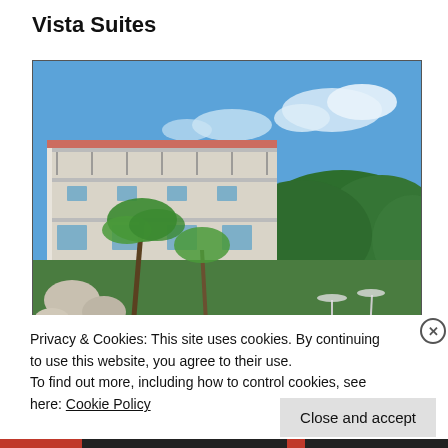Vista Suites
[Figure (photo): Exterior photo of Vista Suites hotel building with multiple balcony floors, surrounded by tropical palm trees and lush green vegetation, with a swimming pool visible at the bottom, under a blue sky with clouds.]
Privacy & Cookies: This site uses cookies. By continuing to use this website, you agree to their use.
To find out more, including how to control cookies, see here: Cookie Policy
Close and accept